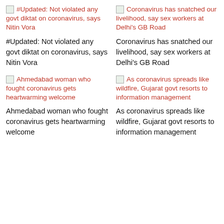#Updated: Not violated any govt diktat on coronavirus, says Nitin Vora
#Updated: Not violated any govt diktat on coronavirus, says Nitin Vora
Coronavirus has snatched our livelihood, say sex workers at Delhi's GB Road
Coronavirus has snatched our livelihood, say sex workers at Delhi's GB Road
Ahmedabad woman who fought coronavirus gets heartwarming welcome
Ahmedabad woman who fought coronavirus gets heartwarming welcome
As coronavirus spreads like wildfire, Gujarat govt resorts to information management
As coronavirus spreads like wildfire, Gujarat govt resorts to information management